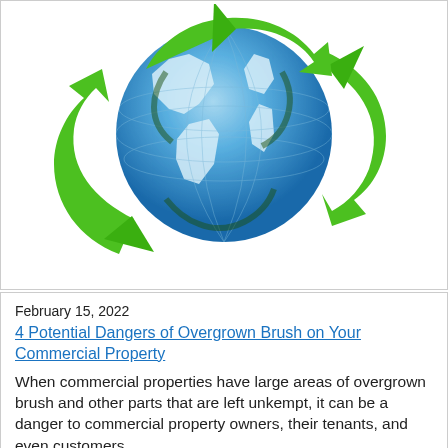[Figure (illustration): A green recycling arrows symbol wrapped around a blue and white globe (Earth), shown against a white background.]
February 15, 2022
4 Potential Dangers of Overgrown Brush on Your Commercial Property
When commercial properties have large areas of overgrown brush and other parts that are left unkempt, it can be a danger to commercial property owners, their tenants, and even customers.